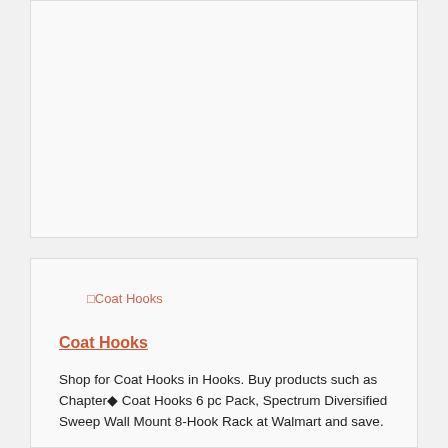[Figure (photo): Empty/broken image placeholder area (top card, no visible image content)]
[Figure (photo): Broken image icon with alt text 'Coat Hooks' shown as placeholder]
Coat Hooks
Shop for Coat Hooks in Hooks. Buy products such as Chapter◆ Coat Hooks 6 pc Pack, Spectrum Diversified Sweep Wall Mount 8-Hook Rack at Walmart and save.